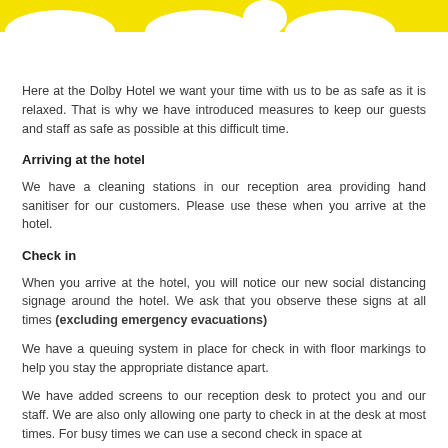[Figure (illustration): Yellow banner header with decorative arch/wave shapes in yellow and white at the top of the page]
Here at the Dolby Hotel we want your time with us to be as safe as it is relaxed. That is why we have introduced measures to keep our guests and staff as safe as possible at this difficult time.
Arriving at the hotel
We have a cleaning stations in our reception area providing hand sanitiser for our customers. Please use these when you arrive at the hotel.
Check in
When you arrive at the hotel, you will notice our new social distancing signage around the hotel. We ask that you observe these signs at all times (excluding emergency evacuations)
We have a queuing system in place for check in with floor markings to help you stay the appropriate distance apart.
We have added screens to our reception desk to protect you and our staff. We are also only allowing one party to check in at the desk at most times. For busy times we can use a second check in space at the side of our reception to place one other party to check in at the desk.